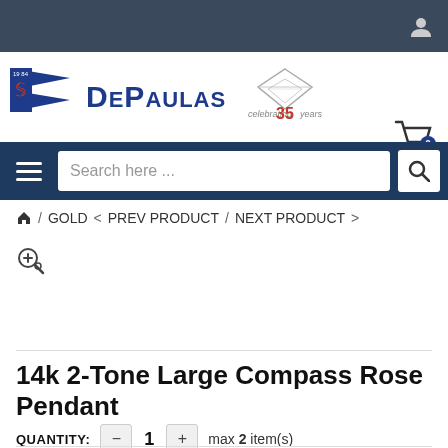DePaulas — celebrating 35 years
Search here ...
🏠 / GOLD < PREV PRODUCT / NEXT PRODUCT >
14k 2-Tone Large Compass Rose Pendant
QUANTITY: − 1 + max 2 item(s)